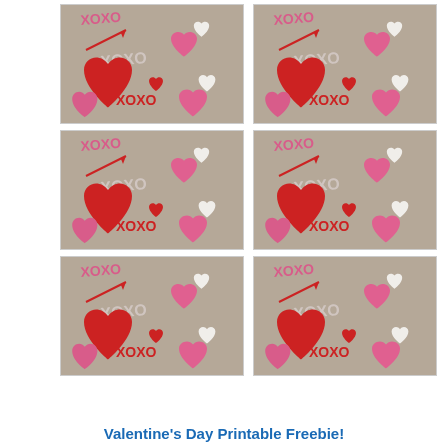[Figure (illustration): Six identical Valentine's Day printable cards arranged in a 2x3 grid. Each card has a tan/kraft paper background with hand-drawn style red and pink hearts, white hearts, arrows, and XOXO text in red and pink.]
Valentine's Day Printable Freebie!